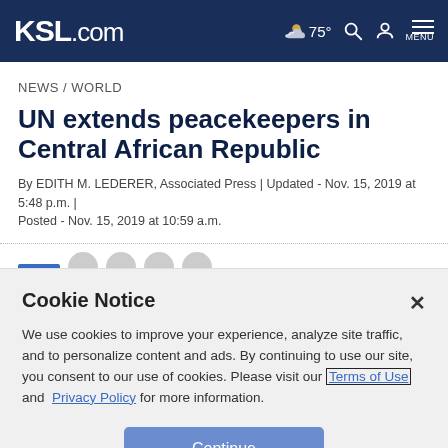KSL.com  75°  MENU
NEWS / WORLD
UN extends peacekeepers in Central African Republic
By EDITH M. LEDERER, Associated Press | Updated - Nov. 15, 2019 at 5:48 p.m. | Posted - Nov. 15, 2019 at 10:59 a.m.
Cookie Notice
We use cookies to improve your experience, analyze site traffic, and to personalize content and ads. By continuing to use our site, you consent to our use of cookies. Please visit our Terms of Use and Privacy Policy for more information.
Continue